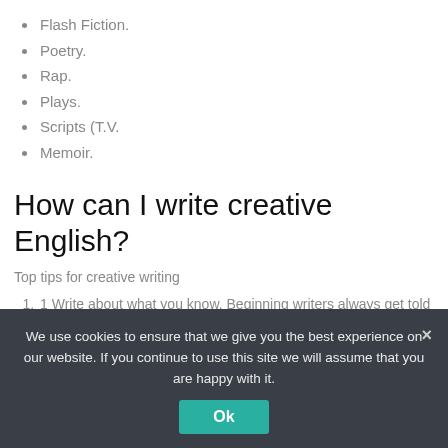Flash Fiction.
Poetry.
Rap.
Plays.
Scripts (T.V.
Memoir.
How can I write creative English?
Top tips for creative writing
1 Write about what you know. Beginning writers always get told 'write what you know', but it's good advice.
2 Write about what you don't know.
3 Read widely and well.
We use cookies to ensure that we give you the best experience on our website. If you continue to use this site we will assume that you are happy with it.